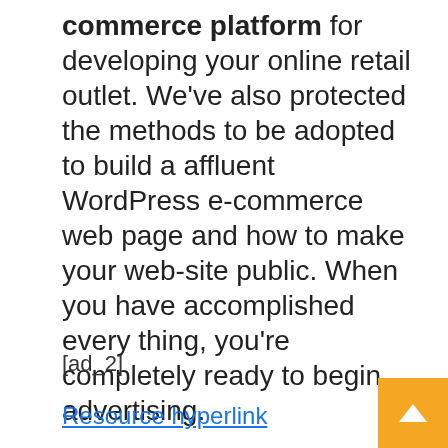commerce platform for developing your online retail outlet. We've also protected the methods to be adopted to build a affluent WordPress e-commerce web page and how to make your web-site public. When you have accomplished every thing, you're completely ready to begin advertising.
[ad_2]
Resource hyperlink
Tags: ""Succeeded His Business"", "Business Plan Loan Originayor, 2 Of Cups Business, 525 Business 5 Bankruptcies, Accounting Business Letter To Client, Bracken Business Communications Clinic, Business Account No Deposit, Business Administration Fafsa, Business Balance Sheet Explained, Business Bank Business Card Solutions In Blue, Business Card...